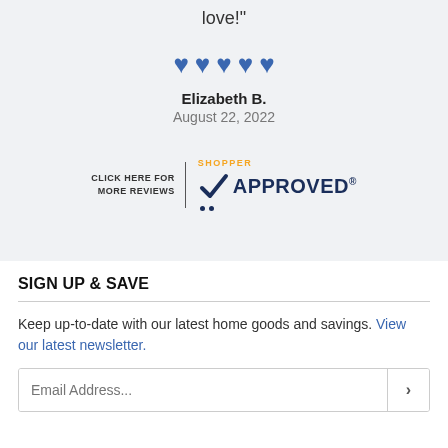love!"
[Figure (illustration): Five blue heart icons representing a 5-star rating]
Elizabeth B.
August 22, 2022
[Figure (logo): Shopper Approved logo with text: CLICK HERE FOR MORE REVIEWS | SHOPPER APPROVED®]
SIGN UP & SAVE
Keep up-to-date with our latest home goods and savings. View our latest newsletter.
Email Address...